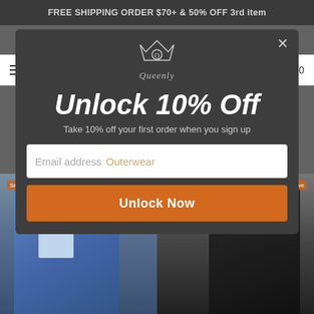FREE SHIPPING ORDER $70+ & 50% OFF 3rd item
[Figure (screenshot): E-commerce website screenshot showing a popup modal overlay on a fashion retailer page (Queenly). The modal has a dark background with 'Unlock 10% Off' heading, subtitle 'Take 10% off your first order when you sign up', an email address input field with 'Outerwear' watermark text visible from the page behind, and an orange 'Unlock Now' button. Behind the modal are fashion product images showing a denim jacket and a black leather coat. The top banner reads 'FREE SHIPPING ORDER $70+ & 50% OFF 3rd item'.]